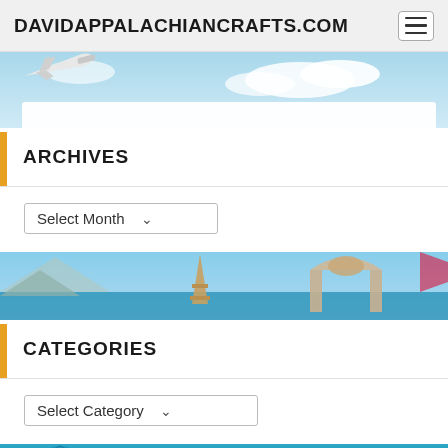DAVIDAPPALACHIANCRAFTS.COM
[Figure (photo): Travel themed banner with airplane and sky]
ARCHIVES
Select Month
[Figure (photo): Travel themed banner showing Eiffel Tower, mosques, and world landmarks]
CATEGORIES
Select Category
[Figure (photo): Travel themed banner showing globe and ocean]